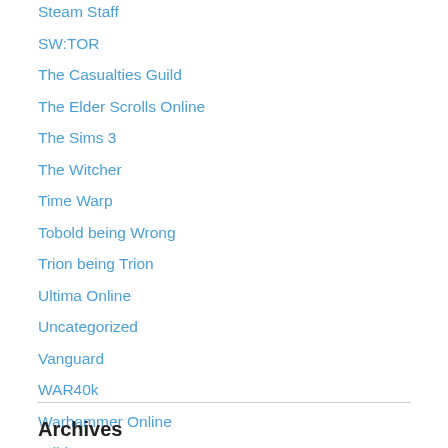Steam Staff
SW:TOR
The Casualties Guild
The Elder Scrolls Online
The Sims 3
The Witcher
Time Warp
Tobold being Wrong
Trion being Trion
Ultima Online
Uncategorized
Vanguard
WAR40k
Warhammer Online
WildStar
Wizard101
World of Warcraft
Archives